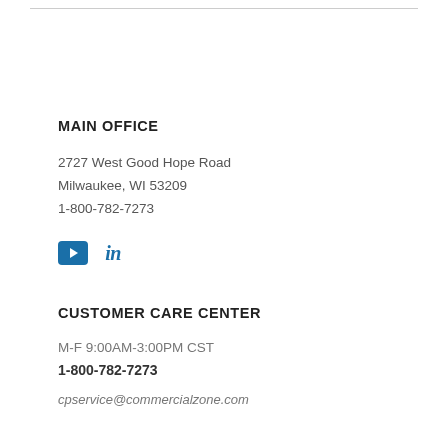MAIN OFFICE
2727 West Good Hope Road
Milwaukee, WI 53209
1-800-782-7273
[Figure (logo): Social media icons: YouTube play button icon and LinkedIn 'in' icon, both in blue]
CUSTOMER CARE CENTER
M-F 9:00AM-3:00PM CST
1-800-782-7273
cpservice@commercialzone.com